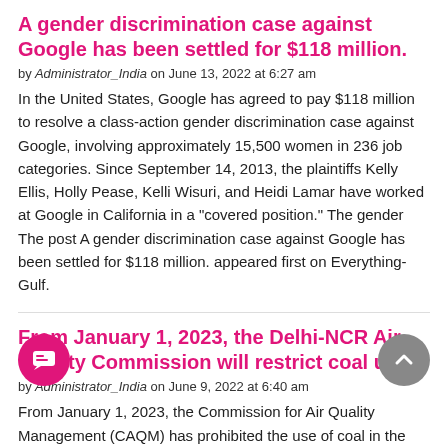A gender discrimination case against Google has been settled for $118 million.
by Administrator_India on June 13, 2022 at 6:27 am
In the United States, Google has agreed to pay $118 million to resolve a class-action gender discrimination case against Google, involving approximately 15,500 women in 236 job categories. Since September 14, 2013, the plaintiffs Kelly Ellis, Holly Pease, Kelli Wisuri, and Heidi Lamar have worked at Google in California in a "covered position." The gender The post A gender discrimination case against Google has been settled for $118 million. appeared first on Everything-Gulf.
From January 1, 2023, the Delhi-NCR Air Quality Commission will restrict coal use
by Administrator_India on June 9, 2022 at 6:40 am
From January 1, 2023, the Commission for Air Quality Management (CAQM) has prohibited the use of coal in the